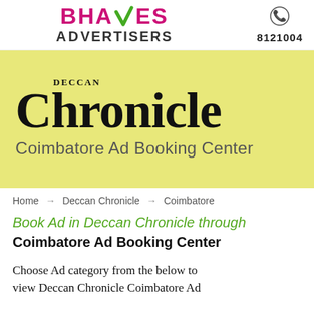[Figure (logo): Bhaves Advertisers logo with pink bold text and green checkmark, plus phone icon and number 8121004]
[Figure (logo): Deccan Chronicle Coimbatore Ad Booking Center banner on yellow background with large serif Chronicle wordmark]
Home → Deccan Chronicle → Coimbatore
Book Ad in Deccan Chronicle through Coimbatore Ad Booking Center
Choose Ad category from the below to view Deccan Chronicle Coimbatore Ad